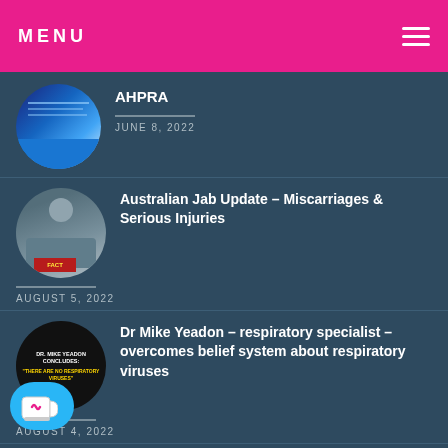MENU
AHPRA
JUNE 8, 2022
Australian Jab Update – Miscarriages & Serious Injuries
AUGUST 5, 2022
Dr Mike Yeadon – respiratory specialist – overcomes belief system about respiratory viruses
AUGUST 4, 2022
POST EXCERPT